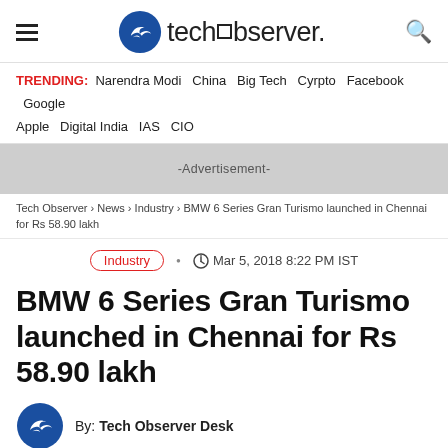techobserver.
TRENDING: Narendra Modi  China  Big Tech  Cyrpto  Facebook  Google  Apple  Digital India  IAS  CIO
[Figure (other): Advertisement banner placeholder]
Tech Observer > News > Industry > BMW 6 Series Gran Turismo launched in Chennai for Rs 58.90 lakh
Industry   Mar 5, 2018 8:22 PM IST
BMW 6 Series Gran Turismo launched in Chennai for Rs 58.90 lakh
By: Tech Observer Desk
Last Updated: Mar 5, 2018 8:22 PM IST